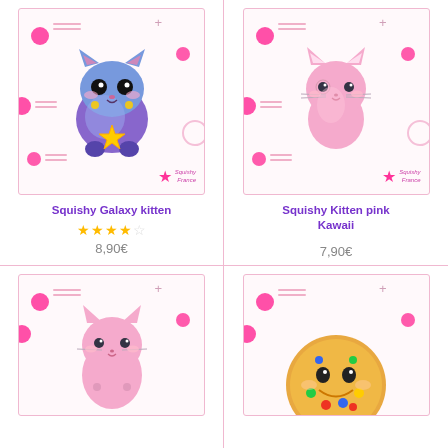[Figure (photo): Squishy Galaxy kitten toy - blue/purple kawaii cat holding a yellow star]
Squishy Galaxy kitten
★★★★☆ 8,90€
[Figure (photo): Squishy Kitten pink Kawaii toy - plain pink kawaii cat figure]
Squishy Kitten pink Kawaii
7,90€
[Figure (photo): Squishy pink kitten toy - partially visible at bottom left]
[Figure (photo): Squishy cookie/biscuit toy - yellow cookie with colorful dots, partially visible at bottom right]